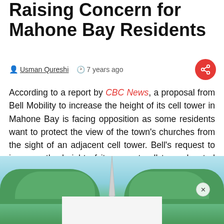Raising Concern for Mahone Bay Residents
Usman Qureshi   7 years ago
According to a report by CBC News, a proposal from Bell Mobility to increase the height of its cell tower in Mahone Bay is facing opposition as some residents want to protect the view of the town's churches from the sight of an adjacent cell tower. Bell's request to increase the height of its current cell tower located on Zwicker Lane behind the town's three churches by 2.4 metres, is scheduled to be heard tonight at the town's council meeting.
[Figure (photo): Photo of a church steeple rising above trees against a light blue sky, with the white church building visible at the bottom.]